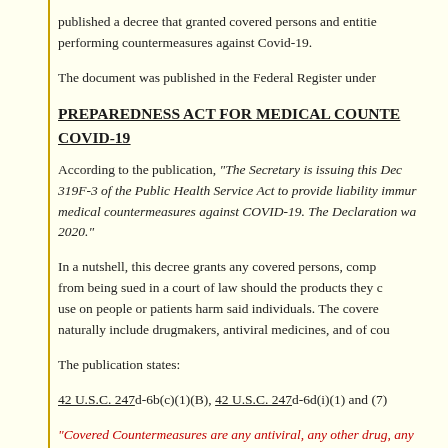published a decree that granted covered persons and entities performing countermeasures against Covid-19.
The document was published in the Federal Register under
PREPAREDNESS ACT FOR MEDICAL COUNTERMEASURES COVID-19
According to the publication, “The Secretary is issuing this Declaration under 42 U.S.C. 319F-3 of the Public Health Service Act to provide liability immunity for activities related to medical countermeasures against COVID-19. The Declaration was effective as of February 4, 2020.”
In a nutshell, this decree grants any covered persons, companies, and entities immunity from being sued in a court of law should the products they create, distribute, administer, or use on people or patients harm said individuals. The covered countermeasures naturally include drugmakers, antiviral medicines, and of course vaccines.
The publication states:
42 U.S.C. 247d-6b(c)(1)(B), 42 U.S.C. 247d-6d(i)(1) and (7)
“Covered Countermeasures are any antiviral, any other drug, any other device, or any vaccine used to treat, diagnose, cure, prevent, or mitigate COVID-19, or the transmission of SARS-CoV-2 or a virus mutating therefrom, or any device used in the administration of any such product, and all components and constituents”